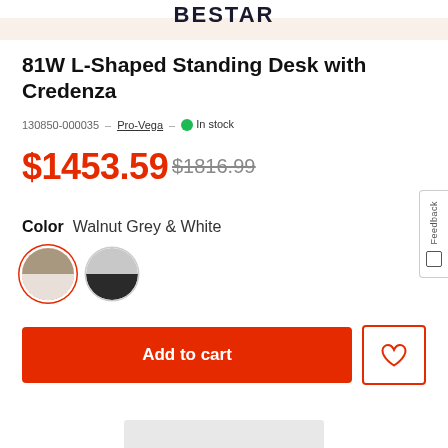BESTAR
81W L-Shaped Standing Desk with Credenza
130850-000035 – Pro-Vega – In stock
$1453.59  $1816.99
Color  Walnut Grey & White
[Figure (other): Two circular color swatches: first (selected, red ring) shows walnut grey and white split half-half; second shows grey and black split half-half]
Add to cart
Feedback (tab on right side)